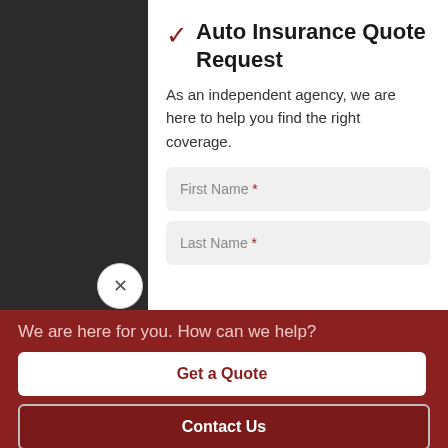Auto Insurance Quote Request
As an independent agency, we are here to help you find the right coverage.
First Name *
Last Name *
We are here for you. How can we help?
Get a Quote
Contact Us